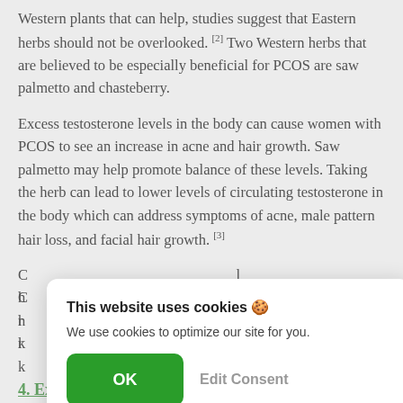Western plants that can help, studies suggest that Eastern herbs should not be overlooked. [2] Two Western herbs that are believed to be especially beneficial for PCOS are saw palmetto and chasteberry.
Excess testosterone levels in the body can cause women with PCOS to see an increase in acne and hair growth. Saw palmetto may help promote balance of these levels. Taking the herb can lead to lower levels of circulating testosterone in the body which can address symptoms of acne, male pattern hair loss, and facial hair growth. [3]
[Figure (screenshot): Cookie consent modal dialog. Title: 'This website uses cookies 🍪'. Body text: 'We use cookies to optimize our site for you.' Two buttons: green 'OK' button and gray 'Edit Consent' button.]
4. Extra Supplements